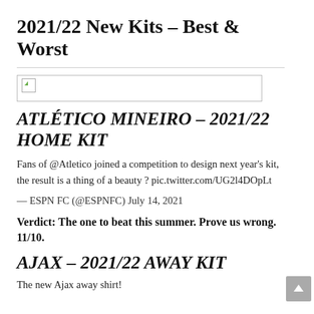2021/22 New Kits – Best & Worst
[Figure (photo): Broken image placeholder thumbnail]
ATLÉTICO MINEIRO – 2021/22 HOME KIT
Fans of @Atletico joined a competition to design next year's kit, the result is a thing of a beauty ? pic.twitter.com/UG2l4DOpLt
— ESPN FC (@ESPNFC) July 14, 2021
Verdict: The one to beat this summer. Prove us wrong. 11/10.
AJAX – 2021/22 AWAY KIT
The new Ajax away shirt!